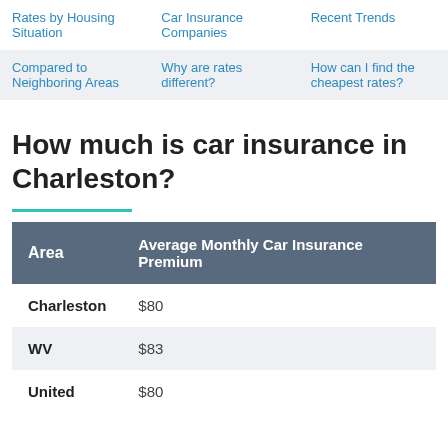|  |  |  |
| --- | --- | --- |
| Rates by Housing Situation | Car Insurance Companies | Recent Trends |
| Compared to Neighboring Areas | Why are rates different? | How can I find the cheapest rates? |
How much is car insurance in Charleston?
| Area | Average Monthly Car Insurance Premium |
| --- | --- |
| Charleston | $80 |
| WV | $83 |
| United | $80 |